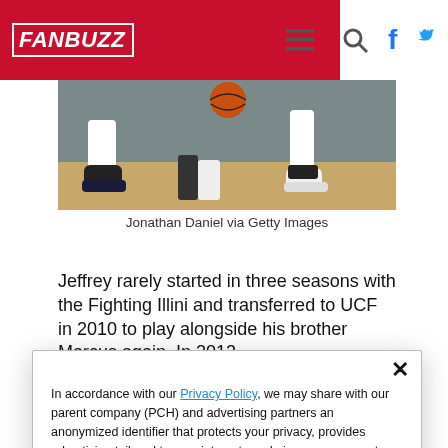FANBUZZ
[Figure (photo): Basketball players' feet and legs on a hardwood court, one player dribbling a ball]
Jonathan Daniel via Getty Images
Jeffrey rarely started in three seasons with the Fighting Illini and transferred to UCF in 2010 to play alongside his brother Marcus again. In 2012,
In accordance with our Privacy Policy, we may share with our parent company (PCH) and advertising partners an anonymized identifier that protects your privacy, provides advertising tailored to your interests and gives you access to advertising supported content. Data collected on one of our sites may be used on our other owned and operated sites, which sites are identified in our Privacy Policy. All of our sites are governed by the same Privacy Policy, and by proceeding to access this site, you are consenting to that Privacy Policy.